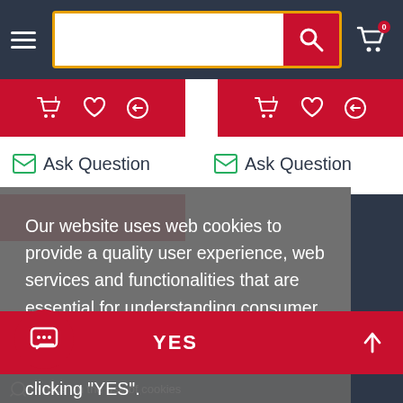[Figure (screenshot): E-commerce website navigation bar with hamburger menu, search input with orange border, red search button with magnifying glass icon, and shopping cart icon with badge showing 0]
[Figure (screenshot): Two red action bars side by side with cart, heart/wishlist, and return icons in white]
Ask Question
Ask Question
Our website uses web cookies to provide a quality user experience, web services and functionalities that are essential for understanding consumer habits. Please confirm your consent to the use of cookies on our pages by clicking "YES".
Privacy Policy
YES
Notice on the use of cookies